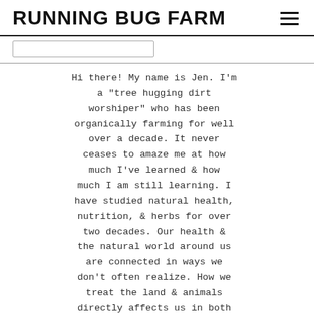RUNNING BUG FARM
Hi there! My name is Jen. I'm a "tree hugging dirt worshiper" who has been organically farming for well over a decade. It never ceases to amaze me at how much I've learned & how much I am still learning. I have studied natural health, nutrition, & herbs for over two decades. Our health & the natural world around us are connected in ways we don't often realize. How we treat the land & animals directly affects us in both